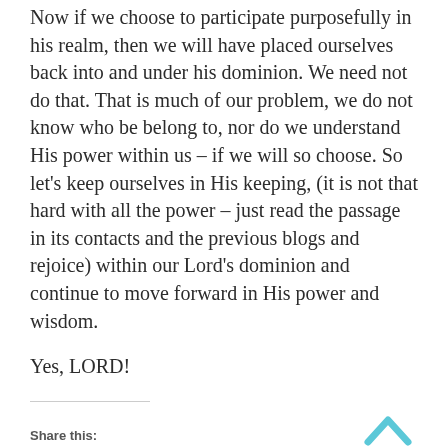Now if we choose to participate purposefully in his realm, then we will have placed ourselves back into and under his dominion. We need not do that. That is much of our problem, we do not know who be belong to, nor do we understand His power within us – if we will so choose. So let's keep ourselves in His keeping, (it is not that hard with all the power – just read the passage in its contacts and the previous blogs and rejoice) within our Lord's dominion and continue to move forward in His power and wisdom.
Yes, LORD!
Share this: